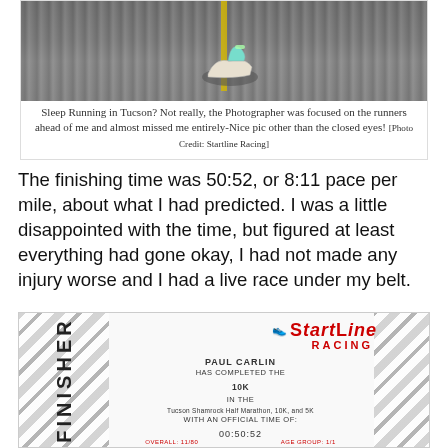[Figure (photo): Runner's feet/shoes on asphalt road with yellow line marking visible]
Sleep Running in Tucson? Not really, the Photographer was focused on the runners ahead of me and almost missed me entirely-Nice pic other than the closed eyes! [Photo Credit: Startline Racing]
The finishing time was 50:52, or 8:11 pace per mile, about what I had predicted. I was a little disappointed with the time, but figured at least everything had gone okay, I had not made any injury worse and I had a live race under my belt.
[Figure (other): Finisher certificate from StartLine Racing for Paul Carlin completing the 10K in the Tucson Shamrock Half Marathon, 10K, and 5K with an official time of 00:50:52]